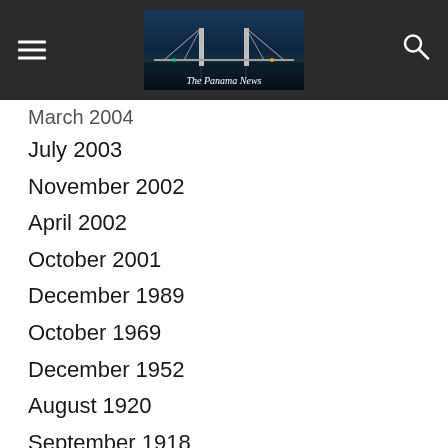The Panama News
March 2004
July 2003
November 2002
April 2002
October 2001
December 1989
October 1969
December 1952
August 1920
September 1918
November 1903
July 1776
December 1702
January 1520